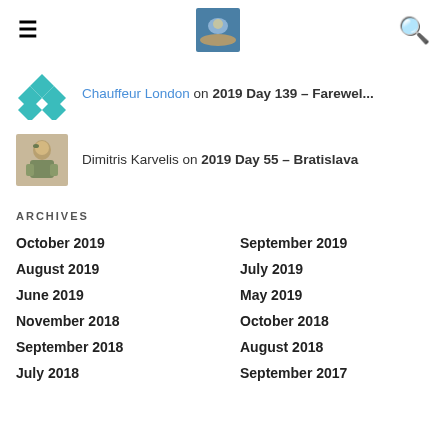☰ [logo] 🔍
Chauffeur London on 2019 Day 139 – Farewel...
Dimitris Karvelis on 2019 Day 55 – Bratislava
ARCHIVES
October 2019
September 2019
August 2019
July 2019
June 2019
May 2019
November 2018
October 2018
September 2018
August 2018
July 2018
September 2017